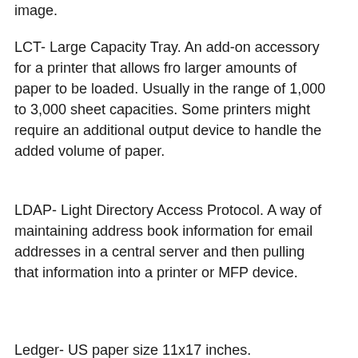image.
LCT- Large Capacity Tray. An add-on accessory for a printer that allows fro larger amounts of paper to be loaded. Usually in the range of 1,000 to 3,000 sheet capacities. Some printers might require an additional output device to handle the added volume of paper.
LDAP- Light Directory Access Protocol. A way of maintaining address book information for email addresses in a central server and then pulling that information into a printer or MFP device.
Ledger- US paper size 11x17 inches.